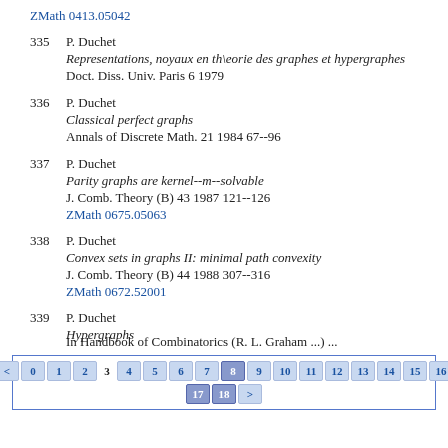ZMath 0413.05042
335 P. Duchet
Representations, noyaux en th\eorie des graphes et hypergraphes
Doct. Diss. Univ. Paris 6 1979
336 P. Duchet
Classical perfect graphs
Annals of Discrete Math. 21 1984 67--96
337 P. Duchet
Parity graphs are kernel--m--solvable
J. Comb. Theory (B) 43 1987 121--126
ZMath 0675.05063
338 P. Duchet
Convex sets in graphs II: minimal path convexity
J. Comb. Theory (B) 44 1988 307--316
ZMath 0672.52001
339 P. Duchet
Hypergraphs
In Handbook of Combinatorics (R. L. Graham ...) ...
< 0 1 2 3 4 5 6 7 8 9 10 11 12 13 14 15 16 17 18 >